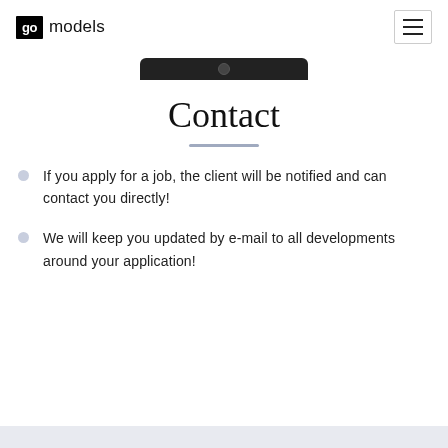go models
[Figure (photo): Bottom portion of a smartphone/device in black color, showing camera cutout]
Contact
If you apply for a job, the client will be notified and can contact you directly!
We will keep you updated by e-mail to all developments around your application!